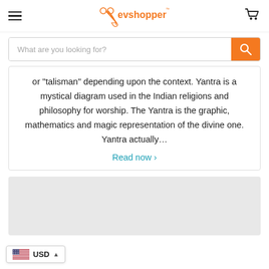evshopper (logo with hamburger menu and cart icon)
[Figure (screenshot): Search bar with placeholder 'What are you looking for?' and orange search button]
or "talisman" depending upon the context. Yantra is a mystical diagram used in the Indian religions and philosophy for worship. The Yantra is the graphic, mathematics and magic representation of the divine one. Yantra actually...
Read now ›
[Figure (other): Gray placeholder card at bottom of page]
USD ▲